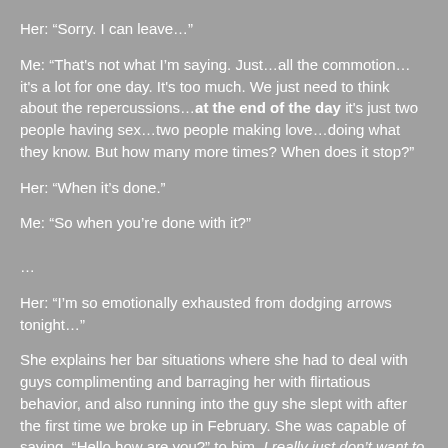Her: “Sorry. I can leave…”
Me: “That's not what I’m saying. Just…all the commotion…it's a lot for one day. It's too much. We just need to think about the repercussions…at the end of the day it's just two people having sex…two people making love…doing what they know. But how many more times? When does it stop?”
Her: “When it’s done.”
Me: “So when you’re done with it?”
…
Her: “I’m so emotionally exhausted from dodging arrows tonight…”
She explains her bar situations where she had to deal with guys complimenting and barraging her with flirtatious behavior, and also running into the guy she slept with after the first time we broke up in February. She was capable of saying, “Hello how are you?” to him. I really just don’t want to hear this.